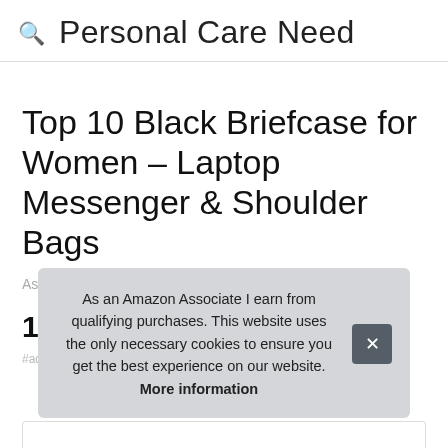Personal Care Need
Top 10 Black Briefcase for Women – Laptop Messenger & Shoulder Bags
As an Amazon Associate I earn from qualifying purchases.
1. NUBIY
#ad
As an Amazon Associate I earn from qualifying purchases. This website uses the only necessary cookies to ensure you get the best experience on our website. More information